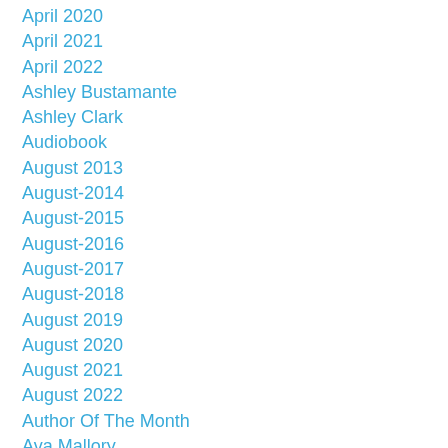April 2020
April 2021
April 2022
Ashley Bustamante
Ashley Clark
Audiobook
August 2013
August-2014
August-2015
August-2016
August-2017
August-2018
August 2019
August 2020
August 2021
August 2022
Author Of The Month
Ava Mallory
Barbara Early
Barbara M. Britton
Barbour